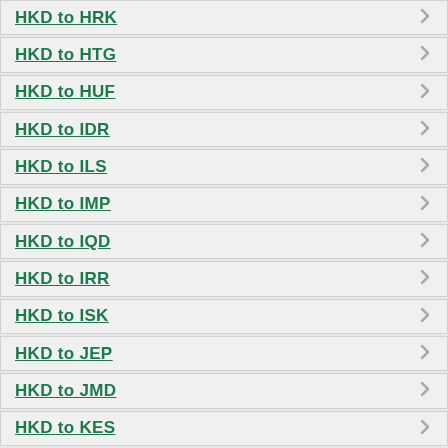HKD to HRK
HKD to HTG
HKD to HUF
HKD to IDR
HKD to ILS
HKD to IMP
HKD to IQD
HKD to IRR
HKD to ISK
HKD to JEP
HKD to JMD
HKD to KES